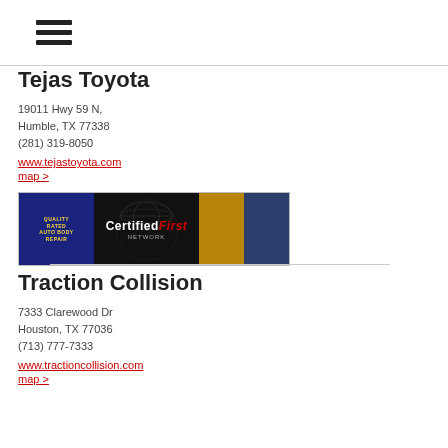≡
Tejas Toyota
19011 Hwy 59 N,
Humble, TX 77338
(281) 319-8050
www.tejastoyota.com
map >
[Figure (logo): Certified First Network banner with blue left panel showing 'Quality Rated Auto Body Repair' in yellow text, black center with globe graphic and 'CertifiedFirst NETWORK' branding, and two photo panels in gold and blue tones]
Traction Collision
7333 Clarewood Dr
Houston, TX 77036
(713) 777-7333
www.tractioncollision.com
map >